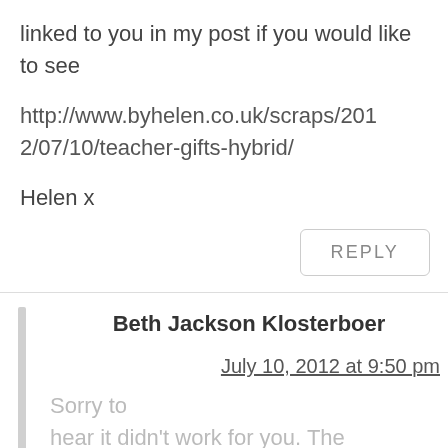linked to you in my post if you would like to see
http://www.byhelen.co.uk/scraps/2012/07/10/teacher-gifts-hybrid/
Helen x
REPLY
Beth Jackson Klosterboer
July 10, 2012 at 9:50 pm
Sorry to hear it didn't work for you. The